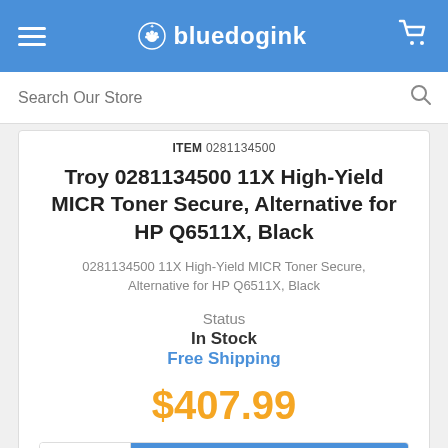bluedogink
ITEM 0281134500
Troy 0281134500 11X High-Yield MICR Toner Secure, Alternative for HP Q6511X, Black
0281134500 11X High-Yield MICR Toner Secure, Alternative for HP Q6511X, Black
Status
In Stock
Free Shipping
$407.99
1  Add To Cart